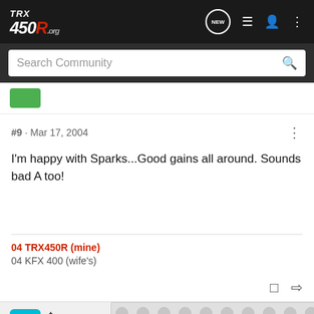TRX 450R .org — Search Community
#9 · Mar 17, 2004
I'm happy with Sparks...Good gains all around. Sounds bad A too!
04 TRX450R (mine)
04 KFX 400 (wife's)